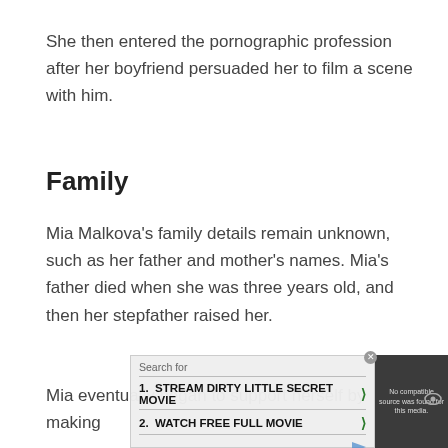She then entered the pornographic profession after her boyfriend persuaded her to film a scene with him.
Family
Mia Malkova’s family details remain unknown, such as her father and mother’s names. Mia’s father died when she was three years old, and then her stepfather raised her.
Mia eventually began to support herself by making
[Figure (screenshot): Advertisement overlay with search results: 1. STREAM DIRTY LITTLE SECRET MOVIE, 2. WATCH FREE FULL MOVIE, with a video player showing 'No compatible source was found for this media.']